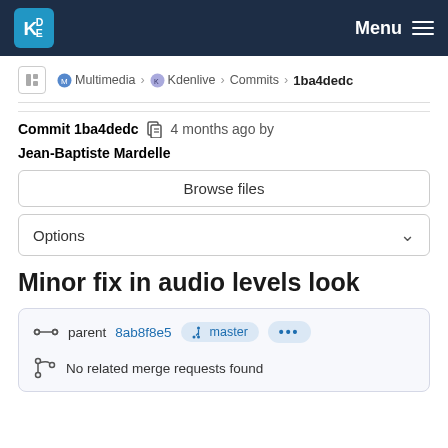KDE — Menu
Multimedia > Kdenlive > Commits > 1ba4dedc
Commit 1ba4dedc  4 months ago by Jean-Baptiste Mardelle
Browse files
Options
Minor fix in audio levels look
parent 8ab8f8e5  master  ...
No related merge requests found